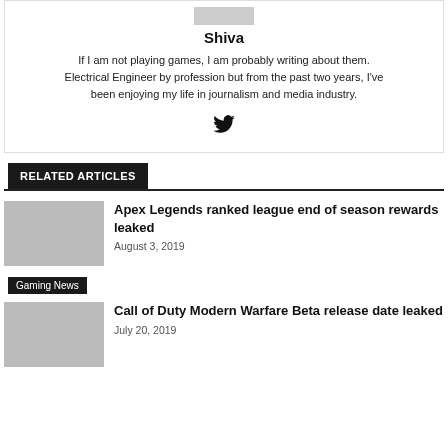[Figure (photo): Author profile photo thumbnail at top]
Shiva
If I am not playing games, I am probably writing about them. Electrical Engineer by profession but from the past two years, I've been enjoying my life in journalism and media industry.
[Figure (illustration): Twitter bird icon]
RELATED ARTICLES
[Figure (photo): Thumbnail for Apex Legends article]
Apex Legends ranked league end of season rewards leaked
August 3, 2019
Gaming News
[Figure (photo): Thumbnail for Call of Duty article]
Call of Duty Modern Warfare Beta release date leaked
July 20, 2019